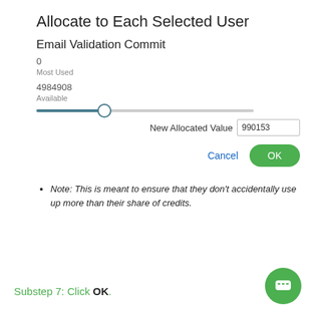Allocate to Each Selected User
Email Validation Commit
0
Most Used
4984908
Available
[Figure (other): A horizontal slider with dark teal fill on the left portion and a circular thumb, with a text input labeled 'New Allocated Value' showing 990153]
Note: This is meant to ensure that they don't accidentally use up more than their share of credits.
Substep 7: Click OK.